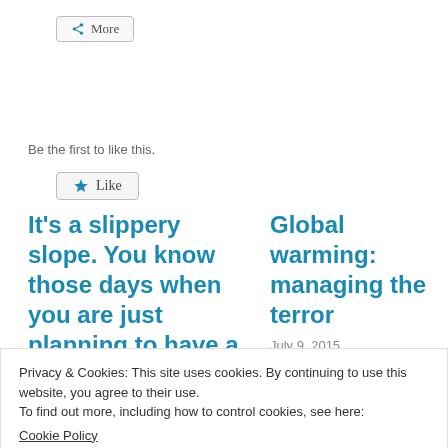[Figure (other): More button with share icon]
[Figure (other): Like button with star icon]
Be the first to like this.
It's a slippery slope. You know those days when you are just planning to have a quick drink,
Global warming: managing the terror
July 9, 2015
In "Science & Research"
Privacy & Cookies: This site uses cookies. By continuing to use this website, you agree to their use.
To find out more, including how to control cookies, see here:
Cookie Policy
Close and accept
EMBT docwiki